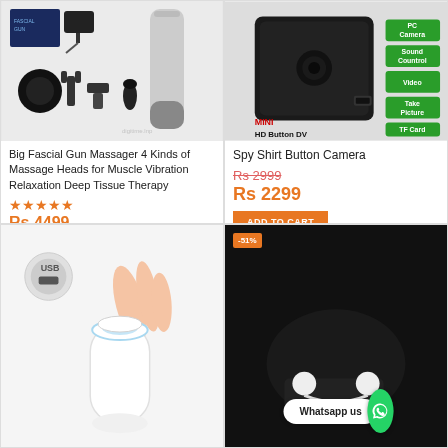[Figure (photo): Big Fascial Gun Massager with 4 massage heads and accessories laid out on white background]
Big Fascial Gun Massager 4 Kinds of Massage Heads for Muscle Vibration Relaxation Deep Tissue Therapy
★★★★★
Rs 4499
ADD TO CART
[Figure (photo): Spy Shirt Button Camera - Mini HD Button DV with features: PC Camera, Sound Control, Video, Take Picture, TF Card]
Spy Shirt Button Camera
Rs 2999
Rs 2299
ADD TO CART
[Figure (photo): White compact electric air pump with USB cable, hand pressing blue button on top]
[Figure (photo): Product on black background with -51% discount badge and Whatsapp us overlay with green WhatsApp icon]